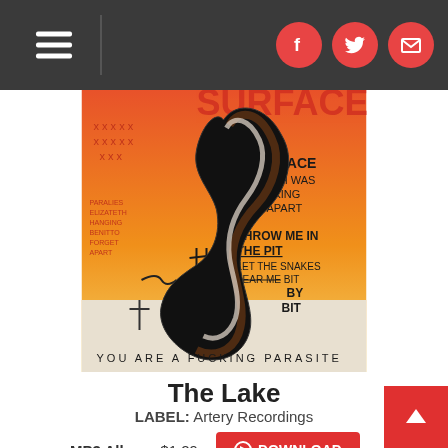Navigation header with hamburger menu and social icons (Facebook, Twitter, Email)
[Figure (illustration): Album cover art for 'The Lake' featuring a large black snake coiled on an orange and yellow background with handwritten text including 'SURFACE', 'BENEATH WAS BREAKING APART', 'THROW ME IN THE PIT', 'LET THE SNAKES FEAR ME BIT BY BIT', 'YOU ARE A FUCKING PARASITE']
The Lake
LABEL: Artery Recordings
2018-12-07
MP3 Album: $1.29  DOWNLOAD